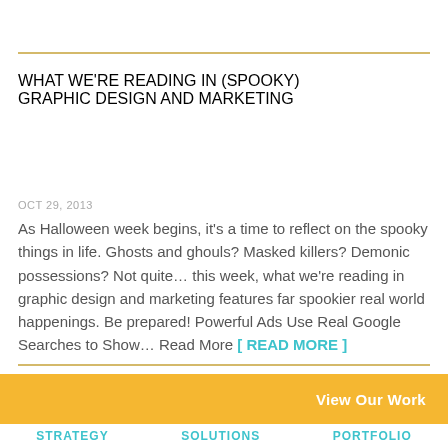WHAT WE'RE READING IN (SPOOKY) GRAPHIC DESIGN AND MARKETING
OCT 29, 2013
As Halloween week begins, it’s a time to reflect on the spooky things in life. Ghosts and ghouls? Masked killers? Demonic possessions? Not quite… this week, what we’re reading in graphic design and marketing features far spookier real world happenings. Be prepared! Powerful Ads Use Real Google Searches to Show… Read More [ READ MORE ]
View Our Work
STRATEGY   SOLUTIONS   PORTFOLIO